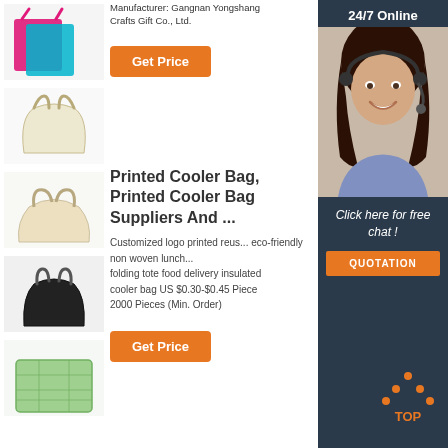[Figure (photo): Pink and teal folded tote bags]
[Figure (photo): Cream/natural canvas tote bag]
[Figure (photo): Beige/natural folded fabric bag]
[Figure (photo): Black non-woven tote bag]
[Figure (photo): Green mesh/insulated cooler bag]
Manufacturer: Gangnan Yongshang Crafts Gift Co., Ltd.
Get Price
Printed Cooler Bag, Printed Cooler Bag Suppliers And ...
Customized logo printed reusable eco-friendly non woven lunch folding tote food delivery insulated cooler bag US $0.30-$0.45 Piece 2000 Pieces (Min. Order)
Get Price
[Figure (infographic): 24/7 Online support panel with agent photo, Click here for free chat!, QUOTATION button, and TOP icon]